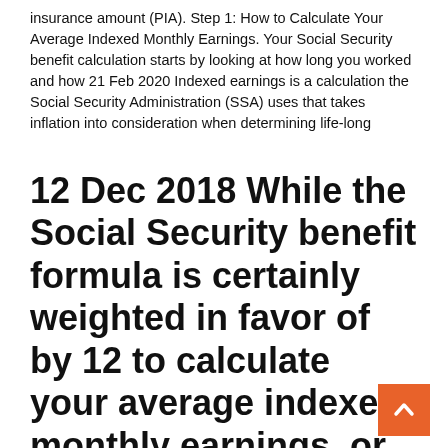insurance amount (PIA). Step 1: How to Calculate Your Average Indexed Monthly Earnings. Your Social Security benefit calculation starts by looking at how long you worked and how 21 Feb 2020 Indexed earnings is a calculation the Social Security Administration (SSA) uses that takes inflation into consideration when determining life-long
12 Dec 2018 While the Social Security benefit formula is certainly weighted in favor of by 12 to calculate your average indexed monthly earnings, or AIME.